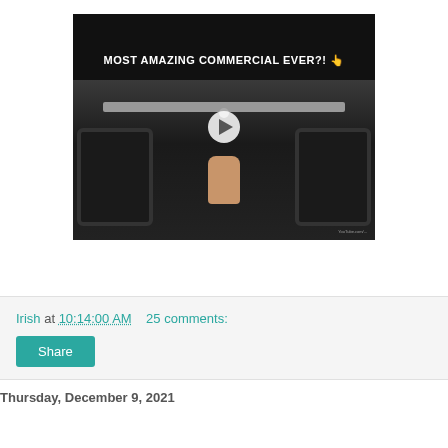[Figure (screenshot): Video thumbnail showing a truck from behind with MOST AMAZING COMMERCIAL EVER?! text, tires, trailer hitch, a hand, and a play button overlay. CAUTION label and US flag visible.]
Irish at 10:14:00 AM    25 comments:
Share
Thursday, December 9, 2021